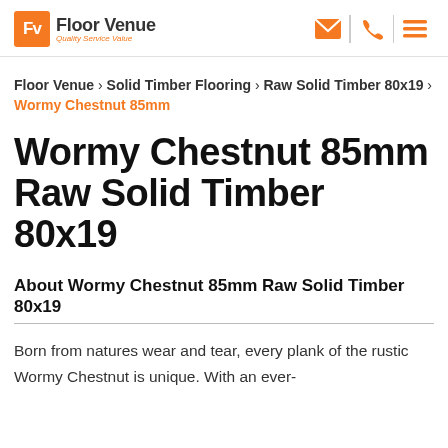Floor Venue — Quality Service Value
Floor Venue › Solid Timber Flooring › Raw Solid Timber 80x19 › Wormy Chestnut 85mm
Wormy Chestnut 85mm Raw Solid Timber 80x19
About Wormy Chestnut 85mm Raw Solid Timber 80x19
Born from natures wear and tear, every plank of the rustic Wormy Chestnut is unique. With an ever-